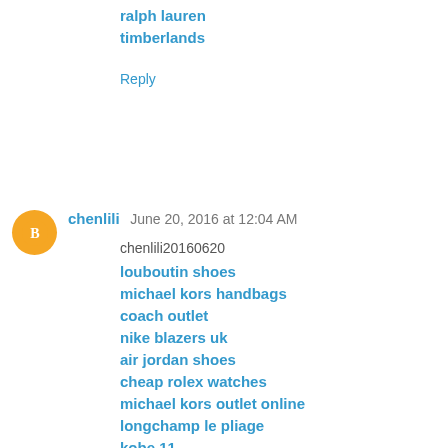ralph lauren
timberlands
Reply
chenlili  June 20, 2016 at 12:04 AM
chenlili20160620
louboutin shoes
michael kors handbags
coach outlet
nike blazers uk
air jordan shoes
cheap rolex watches
michael kors outlet online
longchamp le pliage
kobe 11
true religion outlet online
nike air max uk
michael kors purses
kate spade
ralph lauren outlet
christian louboutin shoes